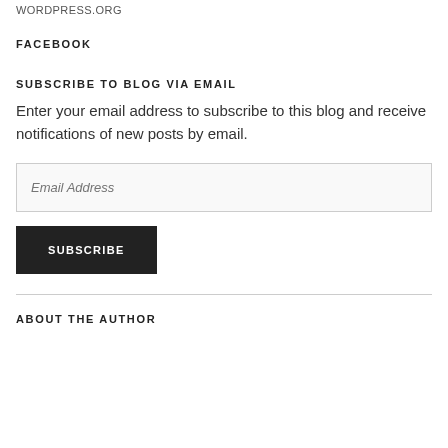WORDPRESS.ORG
FACEBOOK
SUBSCRIBE TO BLOG VIA EMAIL
Enter your email address to subscribe to this blog and receive notifications of new posts by email.
Email Address
SUBSCRIBE
ABOUT THE AUTHOR